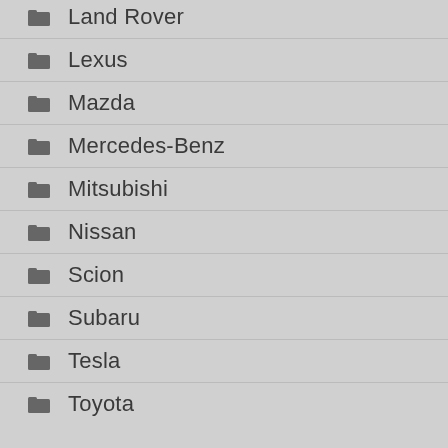Land Rover
Lexus
Mazda
Mercedes-Benz
Mitsubishi
Nissan
Scion
Subaru
Tesla
Toyota